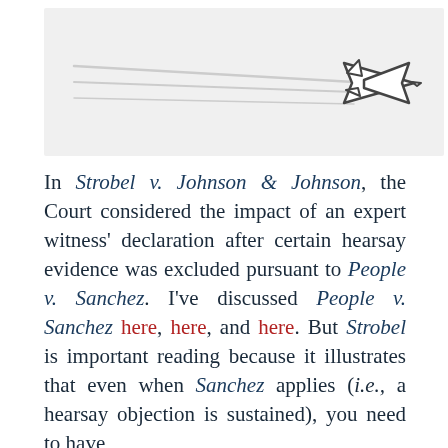[Figure (illustration): Airplane silhouette flying to the right with three horizontal contrail lines on a light gray background]
In Strobel v. Johnson & Johnson, the Court considered the impact of an expert witness' declaration after certain hearsay evidence was excluded pursuant to People v. Sanchez. I've discussed People v. Sanchez here, here, and here. But Strobel is important reading because it illustrates that even when Sanchez applies (i.e., a hearsay objection is sustained), you need to have